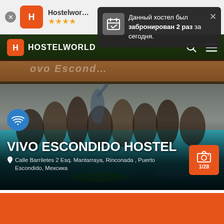[Figure (screenshot): Hostelworld mobile app screenshot showing Vivo Escondido Hostel page with a notification popup in Russian saying the hostel was booked 2 times today, a photo of guests at a pool, WiFi badge, hostel name, address, and camera gallery button showing 1/28]
Данный хостел был забронирован 2 раз за сегодня.
VIVO ESCONDIDO HOSTEL
Calle Barriletes 2 Esq. Mantarraya, Rinconada , Puerto Escondido, Мексика
1/28